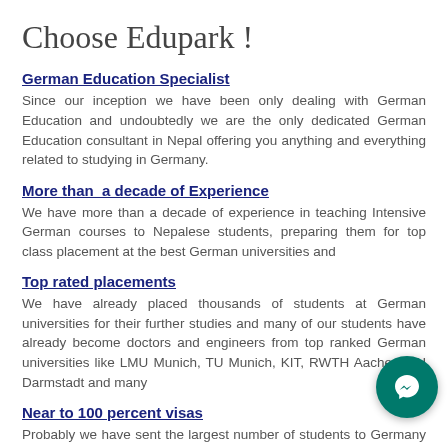Choose Edupark !
German Education Specialist
Since our inception we have been only dealing with German Education and undoubtedly we are the only dedicated German Education consultant in Nepal offering you anything and everything related to studying in Germany.
More than  a decade of Experience
We have more than a decade of experience in teaching Intensive German courses to Nepalese students, preparing them for top class placement at the best German universities and
Top rated placements
We have already placed thousands of students at German universities for their further studies and many of our students have already become doctors and engineers from top ranked German universities like LMU Munich, TU Munich, KIT, RWTH Aachen, TU Darmstadt and many
Near to 100 percent visas
Probably we have sent the largest number of students to Germany from Nepal to have quality education...